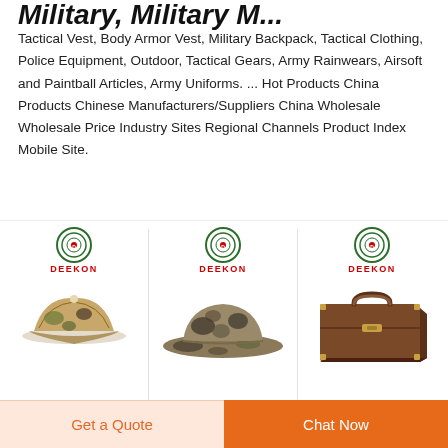Military, Military M...
Tactical Vest, Body Armor Vest, Military Backpack, Tactical Clothing, Police Equipment, Outdoor, Tactical Gears, Army Rainwears, Airsoft and Paintball Articles, Army Uniforms. ... Hot Products China Products Chinese Manufacturers/Suppliers China Wholesale Wholesale Price Industry Sites Regional Channels Product Index Mobile Site.
[Figure (photo): Three DEEKON branded product images: a camouflage military cap, a wide-brim camouflage boonie hat, and a brown leather briefcase.]
Milita... Bulletproof...
Get a Quote
Chat Now